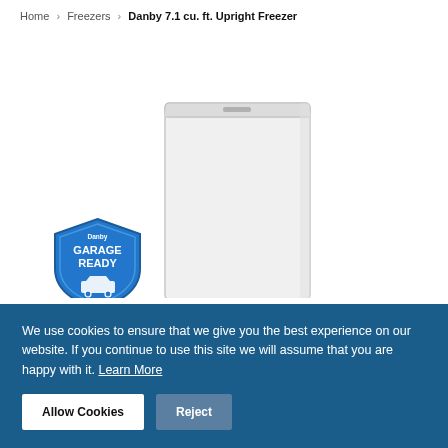Home › Freezers › Danby 7.1 cu. ft. Upright Freezer
[Figure (photo): White upright freezer (Danby 7.1 cu. ft.) with a Garage Ready badge/shield in blue on the lower left]
We use cookies to ensure that we give you the best experience on our website. If you continue to use this site we will assume that you are happy with it. Learn More
Allow Cookies
Reject